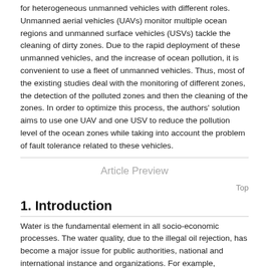for heterogeneous unmanned vehicles with different roles. Unmanned aerial vehicles (UAVs) monitor multiple ocean regions and unmanned surface vehicles (USVs) tackle the cleaning of dirty zones. Due to the rapid deployment of these unmanned vehicles, and the increase of ocean pollution, it is convenient to use a fleet of unmanned vehicles. Thus, most of the existing studies deal with the monitoring of different zones, the detection of the polluted zones and then the cleaning of the zones. In order to optimize this process, the authors' solution aims to use one UAV and one USV to reduce the pollution level of the ocean zones while taking into account the problem of fault tolerance related to these vehicles.
Article Preview
Top
1. Introduction
Water is the fundamental element in all socio-economic processes. The water quality, due to the illegal oil rejection, has become a major issue for public authorities, national and international instance and organizations. For example, IFREMER (Institut Français de Recherche pour l'Exploitation de la Mer) figured out more than 50 million tons of waste between 0 and 250m deep in the Bay of Biscay, 15000 tons of plastic bags which circulate between two waters and 50,000 tons of these bags rest at the bottom of the gulf (Ifremer, 2006).
At the same time, manufacturers in many sectors face a challenge between